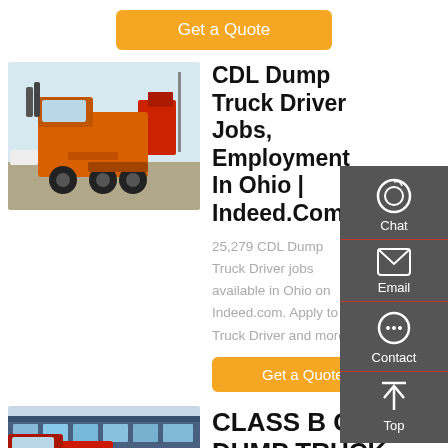Get a Quote
[Figure (photo): Orange CDL dump truck / semi-truck parked in a lot, rear view]
CDL Dump Truck Driver Jobs, Employment In Ohio | Indeed.Com
25,279 CDL Dump Truck Driver jobs available in Ohio on Indeed.com. Apply to Truck Driver and more!
Get a Quote
[Figure (photo): Red CDL dump truck near a building]
CLASS B CDL DUMP TRUCK